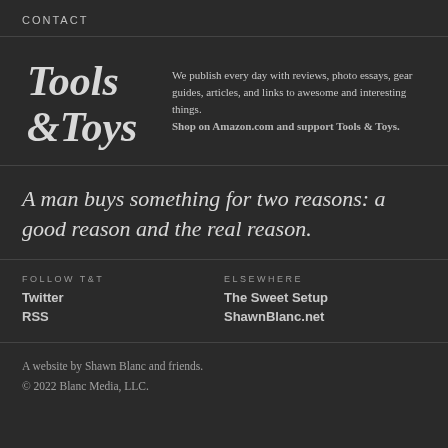CONTACT
[Figure (logo): Tools & Toys stylized serif logo in white on dark background]
We publish every day with reviews, photo essays, gear guides, articles, and links to awesome and interesting things. Shop on Amazon.com and support Tools & Toys.
A man buys something for two reasons: a good reason and the real reason.
FOLLOW T&T
Twitter
RSS
ELSEWHERE
The Sweet Setup
ShawnBlanc.net
A website by Shawn Blanc and friends.
© 2022 Blanc Media, LLC.